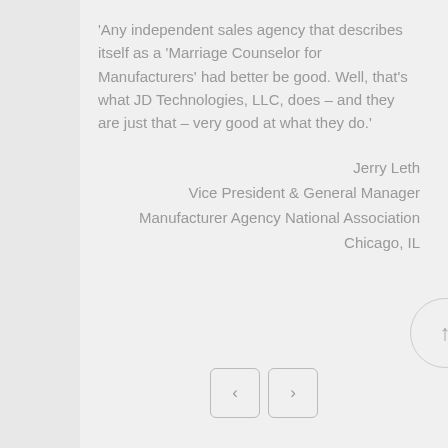'Any independent sales agency that describes itself as a 'Marriage Counselor for Manufacturers' had better be good. Well, that's what JD Technologies, LLC, does – and they are just that – very good at what they do.'
Jerry Leth
Vice President & General Manager
Manufacturer Agency National Association
Chicago, IL